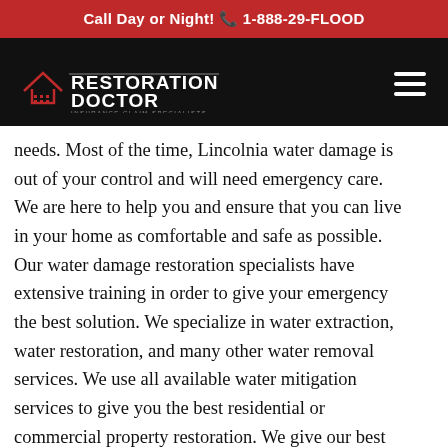Call Day or Night! 📞 1-888-29-FLOOD
[Figure (logo): Restoration Doctor logo with house icon and tagline 'Insurance Claim Specialists' on black navigation bar with hamburger menu icon]
needs. Most of the time, Lincolnia water damage is out of your control and will need emergency care. We are here to help you and ensure that you can live in your home as comfortable and safe as possible. Our water damage restoration specialists have extensive training in order to give your emergency the best solution. We specialize in water extraction, water restoration, and many other water removal services. We use all available water mitigation services to give you the best residential or commercial property restoration. We give our best and prepare for the worst. Water and flood damage is a headache we can